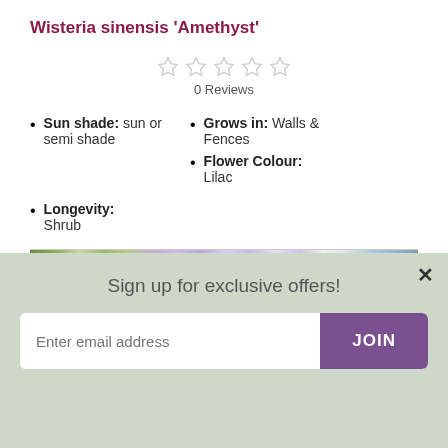Wisteria sinensis 'Amethyst'
0 Reviews
Sun shade: sun or semi shade
Grows in: Walls & Fences
Flower Colour: Lilac
Longevity: Shrub
[Figure (photo): Photo strip of wisteria flowers in purple and green tones]
Sign up for exclusive offers!
Enter email address
JOIN